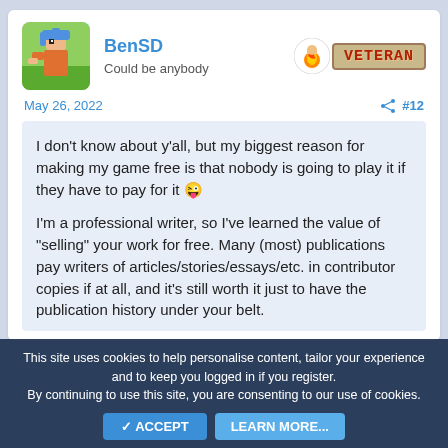BenSD
Could be anybody
[Figure (illustration): Pixel art avatar of a character with blue hair on a green background]
[Figure (illustration): Veteran badge with flame icon and VETERAN text in red on tan background]
May 26, 2022
#12
I don't know about y'all, but my biggest reason for making my game free is that nobody is going to play it if they have to pay for it 😜
I'm a professional writer, so I've learned the value of "selling" your work for free. Many (most) publications pay writers of articles/stories/essays/etc. in contributor copies if at all, and it's still worth it just to have the publication history under your belt.
This site uses cookies to help personalise content, tailor your experience and to keep you logged in if you register.
By continuing to use this site, you are consenting to our use of cookies.